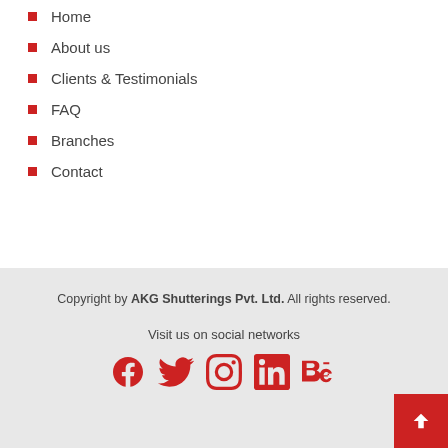Home
About us
Clients & Testimonials
FAQ
Branches
Contact
Copyright by AKG Shutterings Pvt. Ltd. All rights reserved.
Visit us on social networks